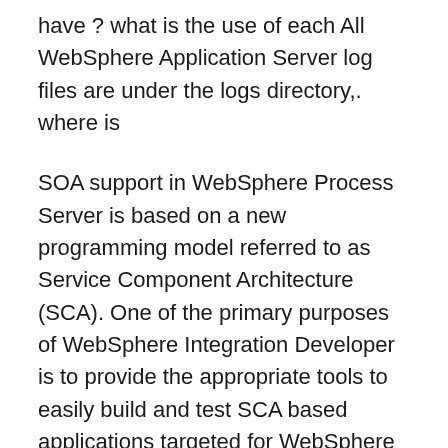have ? what is the use of each All WebSphere Application Server log files are under the logs directory,. where is
SOA support in WebSphere Process Server is based on a new programming model referred to as Service Component Architecture (SCA). One of the primary purposes of WebSphere Integration Developer is to provide the appropriate tools to easily build and test SCA based applications targeted for WebSphere Process Server. SOA support in WebSphere Process Server is based on a new programming model referred to as Service Component Architecture (SCA). One of the primary purposes of WebSphere Integration Developer is to provide the appropriate tools to